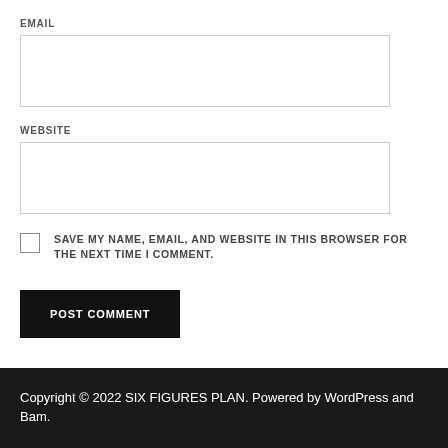EMAIL
WEBSITE
SAVE MY NAME, EMAIL, AND WEBSITE IN THIS BROWSER FOR THE NEXT TIME I COMMENT.
POST COMMENT
Copyright © 2022 SIX FIGURES PLAN. Powered by WordPress and Bam.